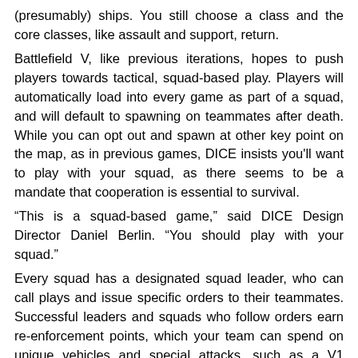(presumably) ships. You still choose a class and the core classes, like assault and support, return.
Battlefield V, like previous iterations, hopes to push players towards tactical, squad-based play. Players will automatically load into every game as part of a squad, and will default to spawning on teammates after death. While you can opt out and spawn at other key point on the map, as in previous games, DICE insists you'll want to play with your squad, as there seems to be a mandate that cooperation is essential to survival.
“This is a squad-based game,” said DICE Design Director Daniel Berlin. “You should play with your squad.”
Every squad has a designated squad leader, who can call plays and issue specific orders to their teammates. Successful leaders and squads who follow orders earn re-enforcement points, which your team can spend on unique vehicles and special attacks, such as a V1 rocket strike — not unlike Call of Duty’s killstreak system.
Your squad will also help you stay alive in a very literal sense. According to Berlin, Battlefield V will see health and ammo become scarce. Players cannot fully regenerate health and will not start out